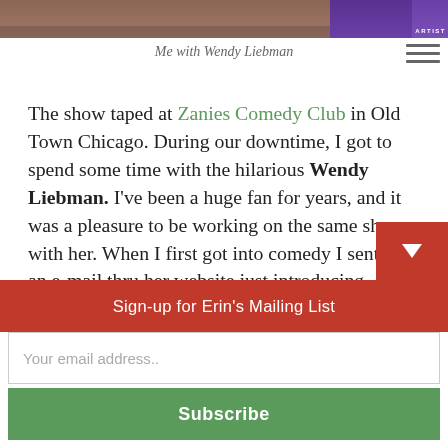[Figure (photo): Top portion of a photo strip showing two people, one on the left and one on the right against a purple background with 'ARTIST' text visible]
Me with Wendy Liebman
The show taped at Zanies Comedy Club in Old Town Chicago. During our downtime, I got to spend some time with the hilarious Wendy Liebman. I've been a huge fan for years, and it was a pleasure to be working on the same show with her. When I first got into comedy I sent her an e-mail thru her website just introducing myself and telling her what a big fan I was and how excited I was about stand-up, and she wrote me the nicest e-mail back and was so encouragin
Sign-up for Erin's Mailing List
Your email address..
Subscribe